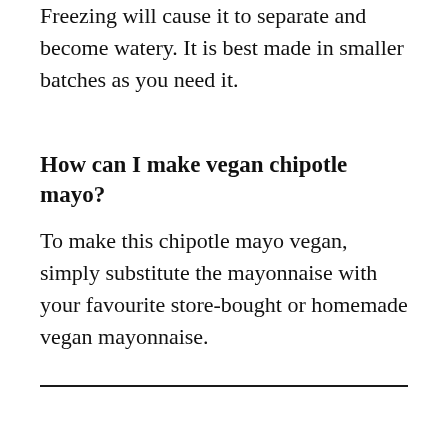Freezing will cause it to separate and become watery. It is best made in smaller batches as you need it.
How can I make vegan chipotle mayo?
To make this chipotle mayo vegan, simply substitute the mayonnaise with your favourite store-bought or homemade vegan mayonnaise.
[Figure (other): Light grey image area below a horizontal divider line, with a circular teal heart/favourite button, a count badge showing 3, and a circular share button on the right side.]